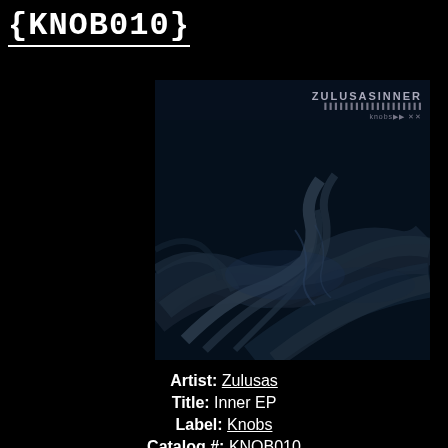{KNOB010}
[Figure (photo): Album artwork for Zulusas 'Inner EP' on Knobs label. Dark atmospheric image showing flowing smoke or fabric-like shapes in shades of dark blue-grey against a near-black background. Text overlay reads 'ZULUSASINNER' and label logo.]
Artist: Zulusas
Title: Inner EP
Label: Knobs
Catalog #: KNOB010